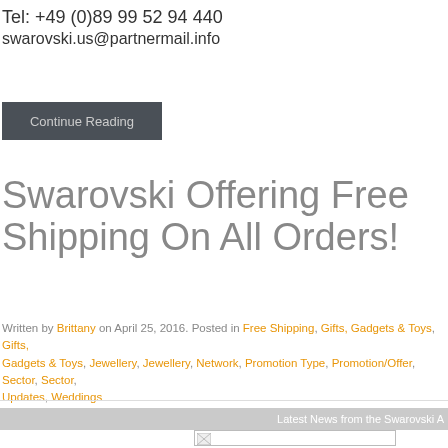Tel: +49 (0)89 99 52 94 440
swarovski.us@partnermail.info
Continue Reading
Swarovski Offering Free Shipping On All Orders!
Written by Brittany on April 25, 2016. Posted in Free Shipping, Gifts, Gadgets & Toys, Gifts, Gadgets & Toys, Jewellery, Jewellery, Network, Promotion Type, Promotion/Offer, Sector, Sector, Updates, Weddings
Latest News from the Swarovski A
[Figure (photo): Broken image placeholder]